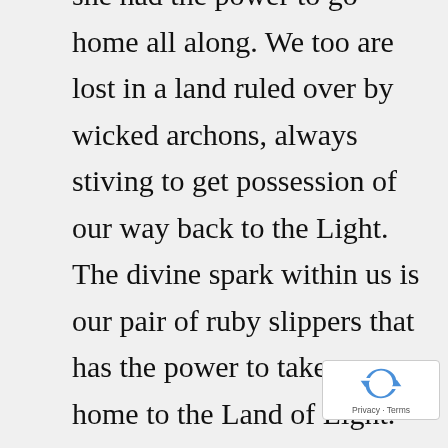she had the power to go home all along. We too are lost in a land ruled over by wicked archons, always stiving to get possession of our way back to the Light. The divine spark within us is our pair of ruby slippers that has the power to take us home to the Land of Light. Before we can go there we must first realize that there is no place like home, our true home beyond the chaos and limitations of this world. Yet we cannot really know this, until we have received something of that greater reality, until we perceive the place where the Christ is. For this we require divine